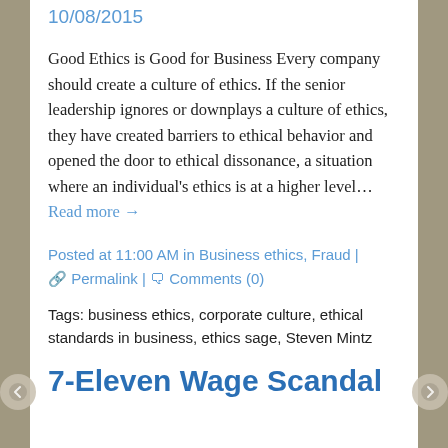10/08/2015
Good Ethics is Good for Business Every company should create a culture of ethics. If the senior leadership ignores or downplays a culture of ethics, they have created barriers to ethical behavior and opened the door to ethical dissonance, a situation where an individual's ethics is at a higher level… Read more →
Posted at 11:00 AM in Business ethics, Fraud | 🔗 Permalink | 💬 Comments (0)
Tags: business ethics, corporate culture, ethical standards in business, ethics sage, Steven Mintz
7-Eleven Wage Scandal